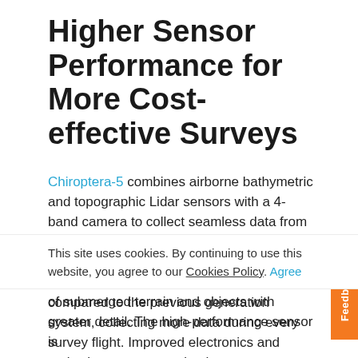Higher Sensor Performance for More Cost-effective Surveys
Chiroptera-5 combines airborne bathymetric and topographic Lidar sensors with a 4-band camera to collect seamless data from the seabed to land. Thanks to a higher pulse repetition frequency (PRF), the new technology increases point density by 40% compared to the previous generation system, collecting more data during every survey flight. Improved electronics and optics increase water depth
This site uses cookies. By continuing to use this website, you agree to our Cookies Policy. Agree
of submerged terrain and objects with greater detail. The high-performance sensor is